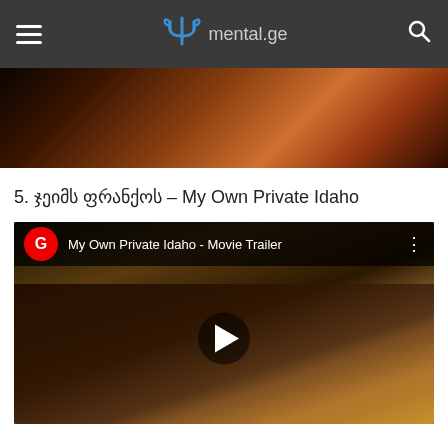mental.ge
[Figure (photo): Top strip showing a dark movie scene with warm orange/brown tones]
5. ჯეიმს ფრანქოს – My Own Private Idaho
[Figure (screenshot): YouTube video thumbnail for 'My Own Private Idaho - Movie Trailer' showing a young man holding yellow flowers in a forest scene. Has YouTube G channel badge in red circle, movie title text overlay, three-dot menu, and a play button in the center.]